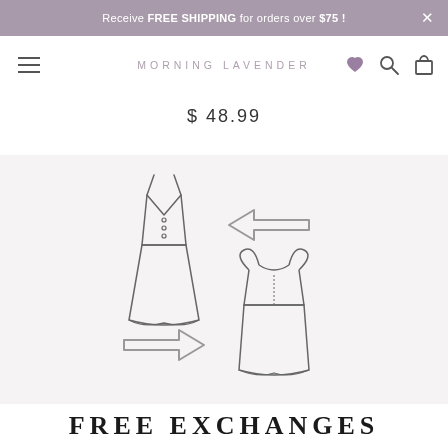Receive FREE SHIPPING for orders over $75 !
MORNING LAVENDER
$ 48.99
[Figure (illustration): Two dresses with exchange arrows between them indicating a free exchanges policy illustration]
FREE EXCHANGES